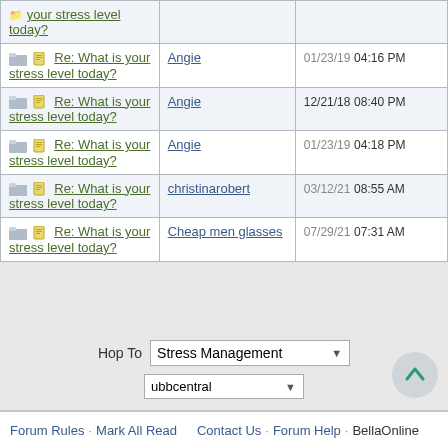| Topic | Author | Date/Time |
| --- | --- | --- |
| Re: What is your stress level today? | Angie | 01/23/19 04:16 PM |
| Re: What is your stress level today? | Angie | 12/21/18 08:40 PM |
| Re: What is your stress level today? | Angie | 01/23/19 04:18 PM |
| Re: What is your stress level today? | christinarobert | 03/12/21 08:55 AM |
| Re: What is your stress level today? | Cheap men glasses | 07/29/21 07:31 AM |
Hop To  Stress Management
ubbcentral
Forum Rules · Mark All Read   Contact Us · Forum Help · BellaOnline